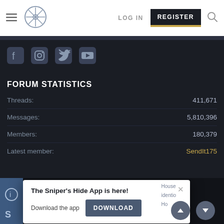LOG IN  REGISTER
[Figure (screenshot): Social media icons: Facebook, Instagram, Twitter, YouTube]
FORUM STATISTICS
Threads: 411,671
Messages: 5,810,396
Members: 180,379
Latest member: SendIt175
The Sniper's Hide App is here! Download the app DOWNLOAD